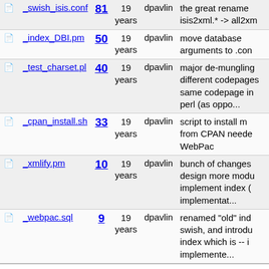|  | File | Rev | Age | Author | Last log entry |
| --- | --- | --- | --- | --- | --- |
|  | swish_isis.conf | 81 | 19 years | dpavlin | the great rename isis2xml.* -> all2xm |
|  | index_DBI.pm | 50 | 19 years | dpavlin | move database arguments to .con |
|  | test_charset.pl | 40 | 19 years | dpavlin | major de-mungling different codepages same codepage in perl (as oppo... |
|  | cpan_install.sh | 33 | 19 years | dpavlin | script to install m from CPAN neede WebPac |
|  | xmlify.pm | 10 | 19 years | dpavlin | bunch of changes design more modu implement index ( implementat... |
|  | webpac.sql | 9 | 19 years | dpavlin | renamed "old" ind swish, and introdu index which is -- i implemente... |
ViewVC Help
Powered by ViewVC 1.1.26